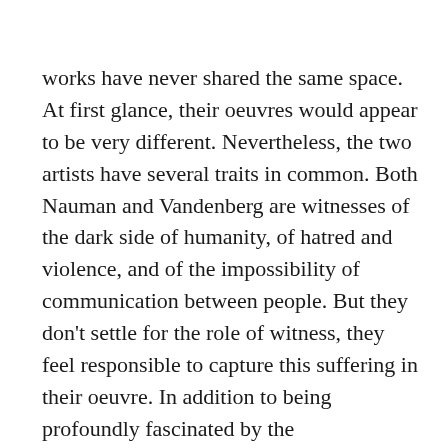works have never shared the same space. At first glance, their oeuvres would appear to be very different. Nevertheless, the two artists have several traits in common. Both Nauman and Vandenberg are witnesses of the dark side of humanity, of hatred and violence, and of the impossibility of communication between people. But they don't settle for the role of witness, they feel responsible to capture this suffering in their oeuvre. In addition to being profoundly fascinated by the precariousness of mortal existence, the vulnerability of the body and the many taboos that hinder human interactions, both artists also use words and images in their works. A major shared concern is the role and power of the visual artist in contemporary society and the place of art within a broader sociopolitical context. Neither artist is